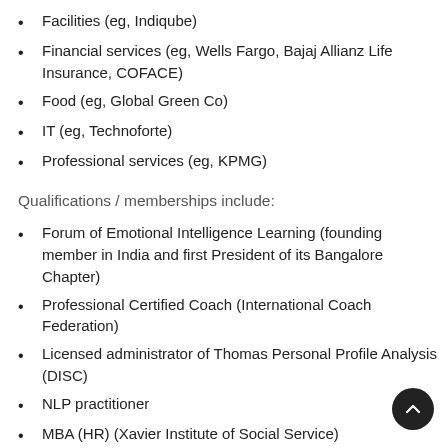Facilities (eg, Indiqube)
Financial services (eg, Wells Fargo, Bajaj Allianz Life Insurance, COFACE)
Food (eg, Global Green Co)
IT (eg, Technoforte)
Professional services (eg, KPMG)
Qualifications / memberships include:
Forum of Emotional Intelligence Learning (founding member in India and first President of its Bangalore Chapter)
Professional Certified Coach (International Coach Federation)
Licensed administrator of Thomas Personal Profile Analysis (DISC)
NLP practitioner
MBA (HR) (Xavier Institute of Social Service)